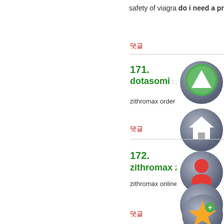safety of viagra do i need a prescrip
댓글
171.
dotasomi : 2022년1월2일 PM 1:09
zithromax order online order zithrom
댓글
172.
zithromax zpak : 2022년1월2일 PM 1
zithromax online purchase zithroma
댓글